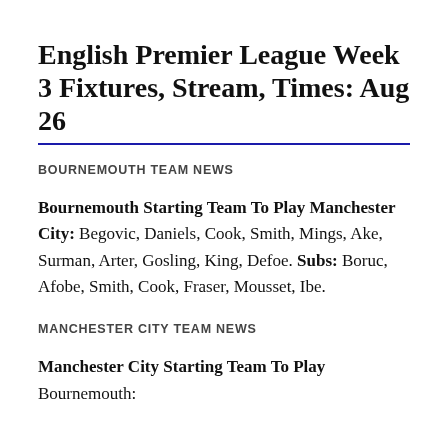English Premier League Week 3 Fixtures, Stream, Times: Aug 26
BOURNEMOUTH TEAM NEWS
Bournemouth Starting Team To Play Manchester City: Begovic, Daniels, Cook, Smith, Mings, Ake, Surman, Arter, Gosling, King, Defoe. Subs: Boruc, Afobe, Smith, Cook, Fraser, Mousset, Ibe.
MANCHESTER CITY TEAM NEWS
Manchester City Starting Team To Play Bournemouth: